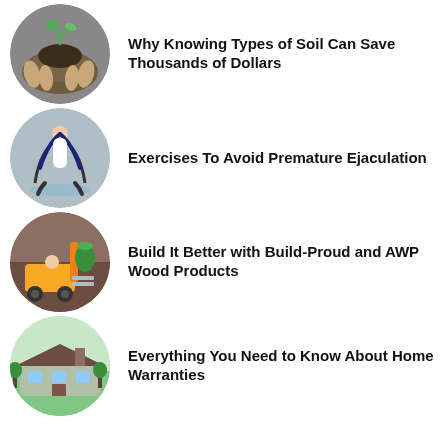Why Knowing Types of Soil Can Save Thousands of Dollars
Exercises To Avoid Premature Ejaculation
Build It Better with Build-Proud and AWP Wood Products
Everything You Need to Know About Home Warranties